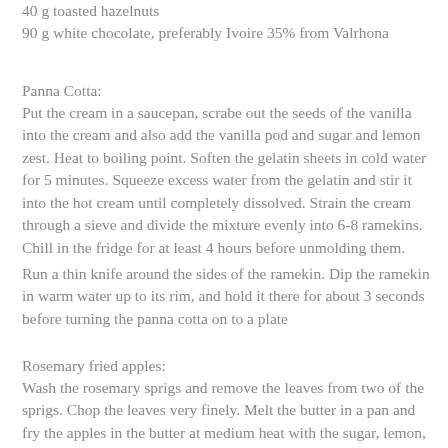40 g toasted hazelnuts
90 g white chocolate, preferably Ivoire 35% from Valrhona
Panna Cotta:
Put the cream in a saucepan, scrabe out the seeds of the vanilla into the cream and also add the vanilla pod and sugar and lemon zest. Heat to boiling point. Soften the gelatin sheets in cold water for 5 minutes. Squeeze excess water from the gelatin and stir it into the hot cream until completely dissolved. Strain the cream through a sieve and divide the mixture evenly into 6-8 ramekins. Chill in the fridge for at least 4 hours before unmolding them.
Run a thin knife around the sides of the ramekin. Dip the ramekin in warm water up to its rim, and hold it there for about 3 seconds before turning the panna cotta on to a plate
Rosemary fried apples:
Wash the rosemary sprigs and remove the leaves from two of the sprigs. Chop the leaves very finely. Melt the butter in a pan and fry the apples in the butter at medium heat with the sugar, lemon, the